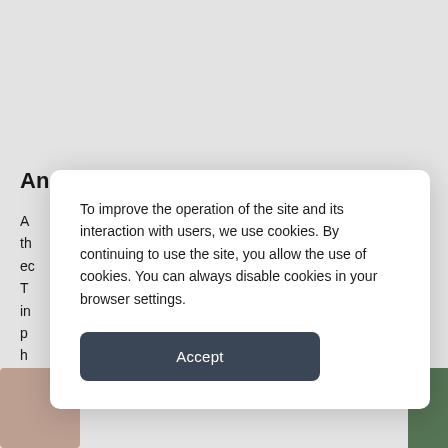An Expensive alarm system
A...th...ec...T...in...p...h...
[Figure (screenshot): Background page content partially visible behind a cookie consent modal dialog]
To improve the operation of the site and its interaction with users, we use cookies. By continuing to use the site, you allow the use of cookies. You can always disable cookies in your browser settings.
Accept